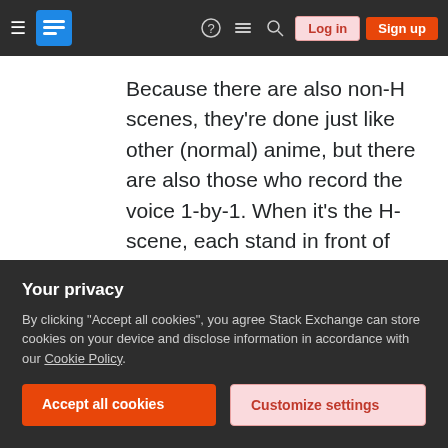Stack Exchange navigation bar with Log in and Sign up buttons
Because there are also non-H scenes, they're done just like other (normal) anime, but there are also those who record the voice 1-by-1. When it's the H-scene, each stand in front of their own mike. [...]
While it's not asked, I'll put info about eroge voice recording too.
(Also, it's because I couldn't find much info about the actual hentai anime's voice recording. It got mixed up with AV with seiyu theme, which I believe is not how they actually do)
Your privacy
By clicking "Accept all cookies", you agree Stack Exchange can store cookies on your device and disclose information in accordance with our Cookie Policy.
Accept all cookies
Customize settings